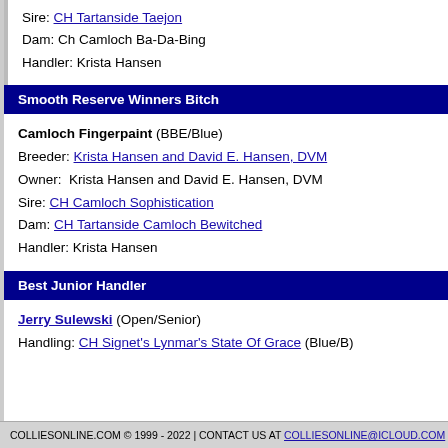Sire: CH Tartanside Taejon
Dam: Ch Camloch Ba-Da-Bing
Handler: Krista Hansen
Smooth Reserve Winners Bitch
Camloch Fingerpaint (BBE/Blue)
Breeder: Krista Hansen and David E. Hansen, DVM
Owner: Krista Hansen and David E. Hansen, DVM
Sire: CH Camloch Sophistication
Dam: CH Tartanside Camloch Bewitched
Handler: Krista Hansen
Best Junior Handler
Jerry Sulewski (Open/Senior)
Handling: CH Signet's Lynmar's State Of Grace (Blue/B)
COLLIESONLINE.COM © 1999 - 2022 | CONTACT US AT COLLIESONLINE@ICLOUD.COM